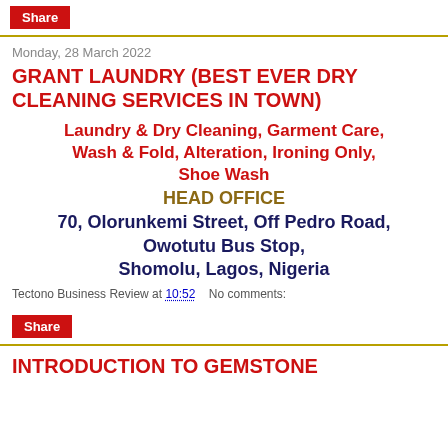Share
Monday, 28 March 2022
GRANT LAUNDRY (BEST EVER DRY CLEANING SERVICES IN TOWN)
Laundry & Dry Cleaning, Garment Care, Wash & Fold, Alteration, Ironing Only, Shoe Wash
HEAD OFFICE
70, Olorunkemi Street, Off Pedro Road, Owotutu Bus Stop, Shomolu, Lagos, Nigeria
Tectono Business Review at 10:52    No comments:
Share
INTRODUCTION TO GEMSTONE